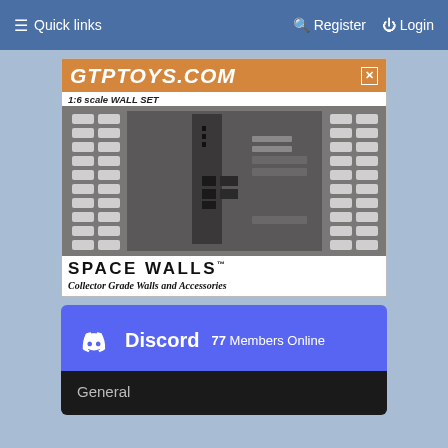≡ Quick links    Register  Login
[Figure (illustration): Advertisement banner for gtptoys.com featuring a 1:6 scale Wall Set called Space Walls - Collector Grade Walls and Accessories, showing a gray sci-fi wall panel set]
[Figure (infographic): Discord widget showing 77 Members Online with a General channel section]